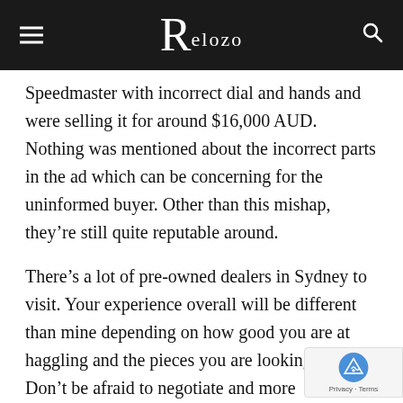Relozo
Speedmaster with incorrect dial and hands and were selling it for around $16,000 AUD. Nothing was mentioned about the incorrect parts in the ad which can be concerning for the uninformed buyer. Other than this mishap, they’re still quite reputable around.
There’s a lot of pre-owned dealers in Sydney to visit. Your experience overall will be different than mine depending on how good you are at haggling and the pieces you are looking for. Don’t be afraid to negotiate and more